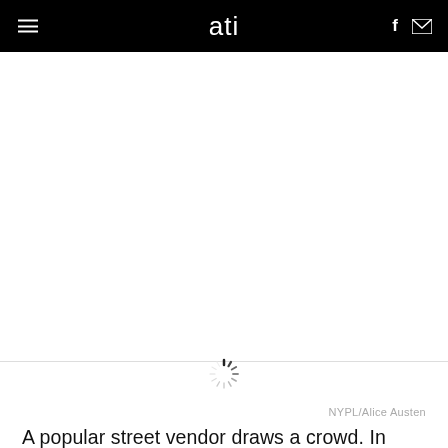≡  ati  f ✉
[Figure (photo): Large image placeholder area that failed to load, showing a white/blank space where a photo should appear. A loading spinner (sunburst/radial lines) is visible indicating the image is still loading.]
NYPL/Alice Austen
A popular street vendor draws a crowd. In 1886, New York's City's Lower East Side got its